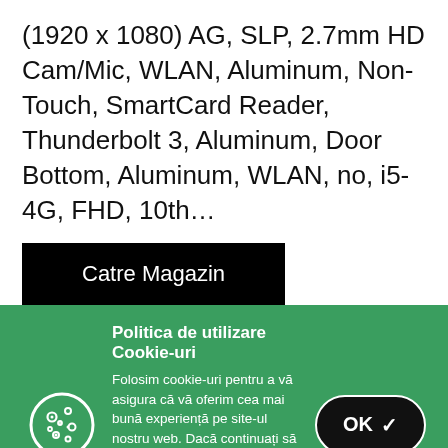(1920 x 1080) AG, SLP, 2.7mm HD Cam/Mic, WLAN, Aluminum, Non-Touch, SmartCard Reader, Thunderbolt 3, Aluminum, Door Bottom, Aluminum, WLAN, no, i5-4G, FHD, 10th…
Catre Magazin
Politica de utilizare Cookie-uri
Folosim cookie-uri pentru a vă asigura că vă oferim cea mai bună experiență pe site-ul nostru web. Dacă continuați să utilizați acest site, vom presupune că sunteți mulțumit de acesta.
Vezi mai mult. »
OK ✓